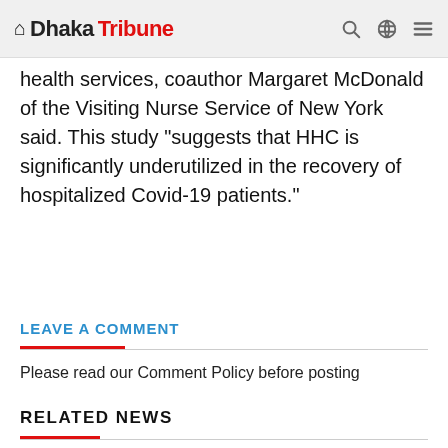Dhaka Tribune
health services, coauthor Margaret McDonald of the Visiting Nurse Service of New York said. This study "suggests that HHC is significantly underutilized in the recovery of hospitalized Covid-19 patients."
LEAVE A COMMENT
Please read our Comment Policy before posting
RELATED NEWS